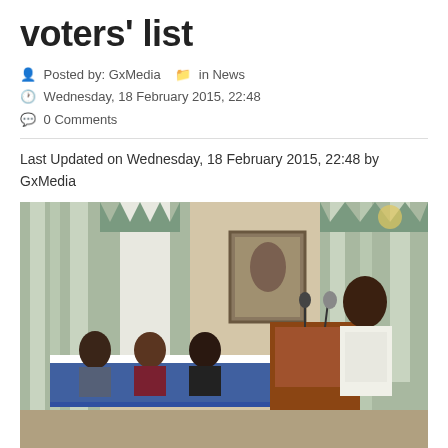voters' list
Posted by: GxMedia  in News
Wednesday, 18 February 2015, 22:48
0 Comments
Last Updated on Wednesday, 18 February 2015, 22:48 by GxMedia
[Figure (photo): Chief Elections Officer Keith Lowenfield addressing a GECOM news conference at a podium in a white suit, with three people seated at a table behind him in a formal room with curtains and a painting on the wall.]
Chief Elections Officer, Keith Lowenfield addressing a GECOM news conference. Seated (left to right) are GECOM's Legal Officer, Juanita Barker; Deputy Chief Elections Officer, Vishnu Persaud and Chairman of